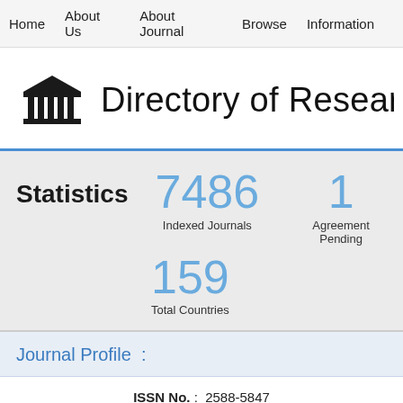Home   About Us   About Journal   Browse   Information
Directory of Research
Statistics   7486 Indexed Journals   1 Agreement Pending   159 Total Countries
Journal Profile :
ISSN No. : 2588-5847